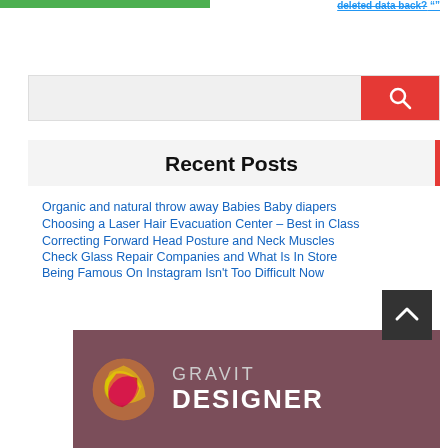deleted data back?
[Figure (screenshot): Search input box with red search button containing white magnifying glass icon]
Recent Posts
Organic and natural throw away Babies Baby diapers
Choosing a Laser Hair Evacuation Center – Best in Class
Correcting Forward Head Posture and Neck Muscles
Check Glass Repair Companies and What Is In Store
Being Famous On Instagram Isn't Too Difficult Now
[Figure (logo): Gravit Designer logo with colorful circular icon and text GRAVIT DESIGNER on dark mauve background]